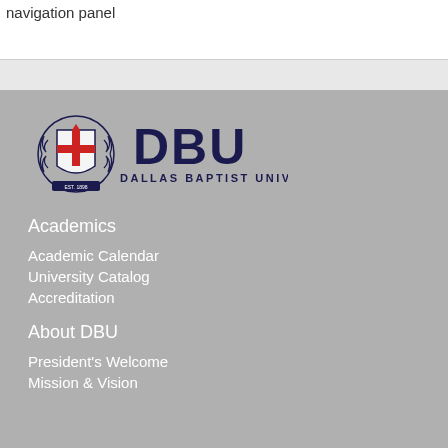navigation panel
[Figure (logo): Dallas Baptist University logo with shield crest and DBU text in navy blue]
Academics
Academic Calendar
University Catalog
Accreditation
About DBU
President's Welcome
Mission & Vision